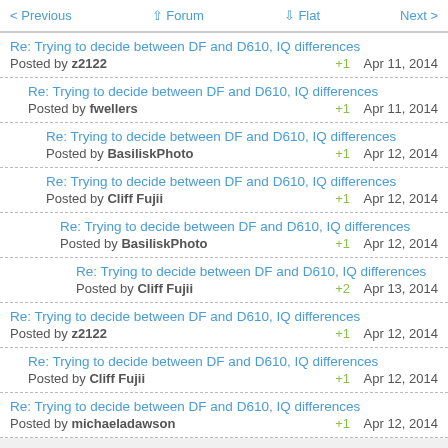< Previous   ^ Forum   v Flat   Next >
Re: Trying to decide between DF and D610, IQ differences
Posted by z2122   +1   Apr 11, 2014
Re: Trying to decide between DF and D610, IQ differences
Posted by fwellers   +1   Apr 11, 2014
Re: Trying to decide between DF and D610, IQ differences
Posted by BasiliskPhoto   +1   Apr 12, 2014
Re: Trying to decide between DF and D610, IQ differences
Posted by Cliff Fujii   +1   Apr 12, 2014
Re: Trying to decide between DF and D610, IQ differences
Posted by BasiliskPhoto   +1   Apr 12, 2014
Re: Trying to decide between DF and D610, IQ differences
Posted by Cliff Fujii   +2   Apr 13, 2014
Re: Trying to decide between DF and D610, IQ differences
Posted by z2122   +1   Apr 12, 2014
Re: Trying to decide between DF and D610, IQ differences
Posted by Cliff Fujii   +1   Apr 12, 2014
Re: Trying to decide between DF and D610, IQ differences
Posted by michaeladawson   +1   Apr 12, 2014